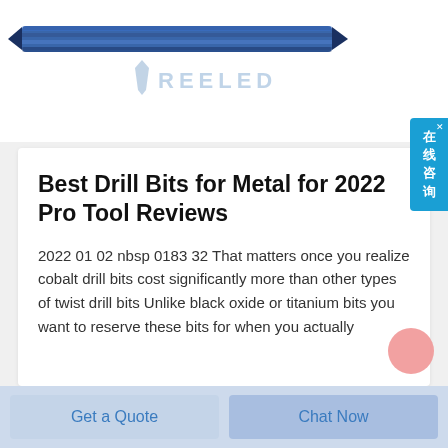[Figure (photo): Blue twist drill bit shown horizontally across the top of the page, with a REELED brand logo/watermark below it]
Best Drill Bits for Metal for 2022 Pro Tool Reviews
2022 01 02 nbsp 0183 32 That matters once you realize cobalt drill bits cost significantly more than other types of twist drill bits Unlike black oxide or titanium bits you want to reserve these bits for when you actually
[Figure (other): Blue side widget with Chinese characters reading 在线咨询 (online consultation) with a close X button]
Get a Quote
Chat Now